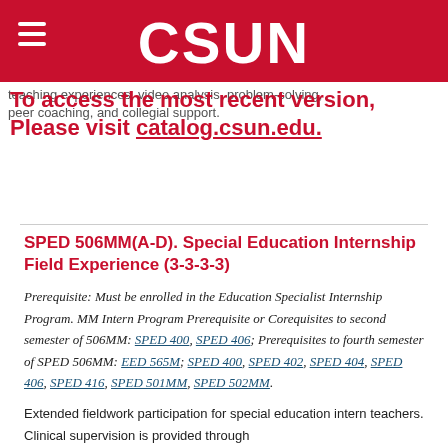CSUN
To access the most recent version, Please visit catalog.csun.edu.
teaching experiences, video analysis, problem-solving, peer coaching, and collegial support.
SPED 506MM(A-D). Special Education Internship Field Experience (3-3-3-3)
Prerequisite: Must be enrolled in the Education Specialist Internship Program. MM Intern Program Prerequisite or Corequisites to second semester of 506MM: SPED 400, SPED 406; Prerequisites to fourth semester of SPED 506MM: EED 565M; SPED 400, SPED 402, SPED 404, SPED 406, SPED 416, SPED 501MM, SPED 502MM.
Extended fieldwork participation for special education intern teachers. Clinical supervision is provided through